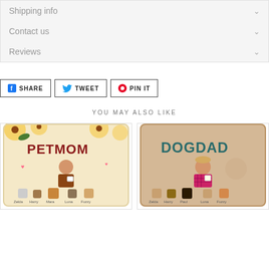Shipping info
Contact us
Reviews
SHARE
TWEET
PIN IT
YOU MAY ALSO LIKE
[Figure (photo): Decorative pillow with PETMOM text, sunflowers, woman with coffee, cats and dogs. Names: Zelda, Harry, Mara, Luna, Fuzzy]
[Figure (photo): Decorative pillow with DOGDAD text, vintage style, man with coffee, dogs. Names: Zelda, Harry, Paul, Luna, Fuzzy]